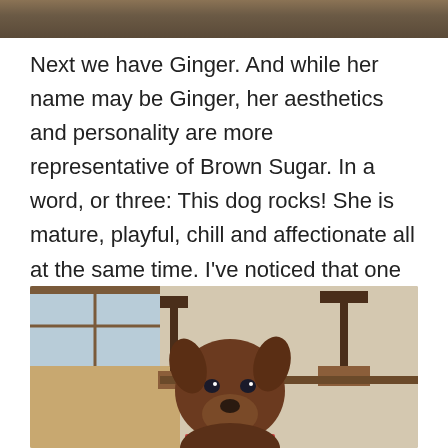[Figure (photo): Partial top image showing dogs, cropped at the top of the page]
Next we have Ginger. And while her name may be Ginger, her aesthetics and personality are more representative of Brown Sugar. In a word, or three: This dog rocks! She is mature, playful, chill and affectionate all at the same time. I've noticed that one of the regular dog walkers frequently walks Ginger and seems to have her out longer than some of the other pups, and I can totally understand why. She's every person's dream dog. She's got a fantastic range of facial expressions, she's a breeze to handle and seems perfectly happy doing pretty much whatever you want.
[Figure (photo): Photo of a brown dog (Ginger) sitting at a table in what appears to be a cafe or restaurant, wearing a bandana, with chairs visible in the background]